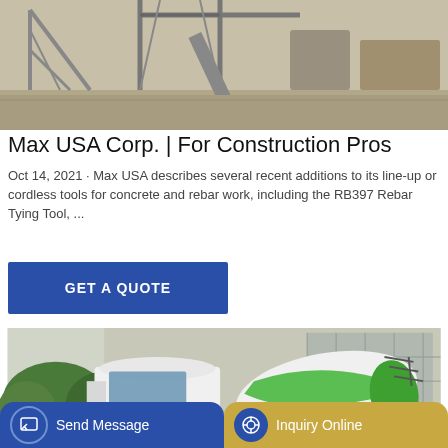[Figure (photo): Industrial/construction site photo showing metal framework and machinery in a yard]
Max USA Corp. | For Construction Pros
Oct 14, 2021 · Max USA describes several recent additions to its line-up or cordless tools for concrete and rebar work, including the RB397 Rebar Tying Tool, ...
GET A QUOTE
[Figure (photo): White HOWO concrete mixer truck with green drum parked in front of an industrial building]
Send Message
Inquiry Online